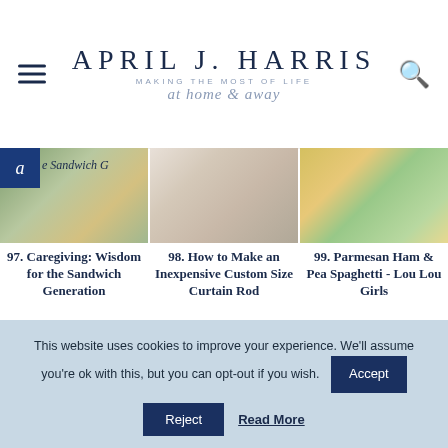APRIL J. HARRIS — MAKING THE MOST OF LIFE at home & away
[Figure (screenshot): Thumbnail image for article 97: Caregiving Sandwich Generation, with blue badge overlay]
[Figure (screenshot): Thumbnail image for article 98: Inexpensive Custom Size Curtain Rod, interior soft furnishings]
[Figure (screenshot): Thumbnail image for article 99: Parmesan Ham & Pea Spaghetti - Lou Lou Girls, pasta dish]
97. Caregiving: Wisdom for the Sandwich Generation
98. How to Make an Inexpensive Custom Size Curtain Rod
99. Parmesan Ham & Pea Spaghetti - Lou Lou Girls
[Figure (screenshot): Thumbnail image for article 100: dessert/food item]
[Figure (screenshot): Thumbnail image for article 101: person outdoors by hedge]
[Figure (screenshot): Thumbnail image for article 102: craft/DIY on wood surface]
This website uses cookies to improve your experience. We'll assume you're ok with this, but you can opt-out if you wish.
Reject  Read More  Accept